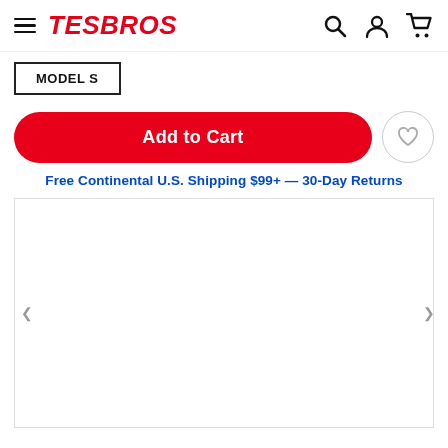TESBROS
MODEL S
Add to Cart
Free Continental U.S. Shipping $99+ — 30-Day Returns
[Figure (photo): White product image area placeholder]